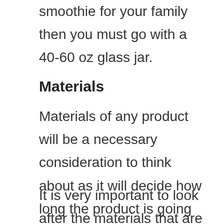smoothie for your family then you must go with a 40-60 oz glass jar.
Materials
Materials of any product will be a necessary consideration to think about as it will decide how long the product is going to last with you.
It is very important to look after the materials that are used for the